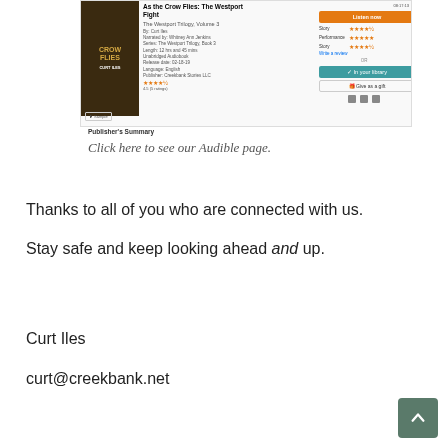[Figure (screenshot): Audible product page for 'As the Crow Flies: The Westport Fight' by Curt Iles, The Westport Trilogy Volume 3, showing book cover, metadata, Listen Now button, ratings, In Your Library button, Give as a Gift button, and social sharing icons.]
Publisher's Summary
Click here to see our Audible page.
Thanks to all of you who are connected with us.
Stay safe and keep looking ahead and up.
Curt Iles
curt@creekbank.net